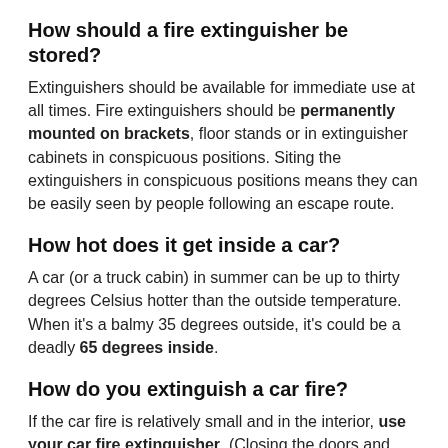How should a fire extinguisher be stored?
Extinguishers should be available for immediate use at all times. Fire extinguishers should be permanently mounted on brackets, floor stands or in extinguisher cabinets in conspicuous positions. Siting the extinguishers in conspicuous positions means they can be easily seen by people following an escape route.
How hot does it get inside a car?
A car (or a truck cabin) in summer can be up to thirty degrees Celsius hotter than the outside temperature. When it's a balmy 35 degrees outside, it's could be a deadly 65 degrees inside.
How do you extinguish a car fire?
If the car fire is relatively small and in the interior, use your car fire extinguisher. (Closing the doors and windows may also smother the fire.) If there's a small amount of smoke